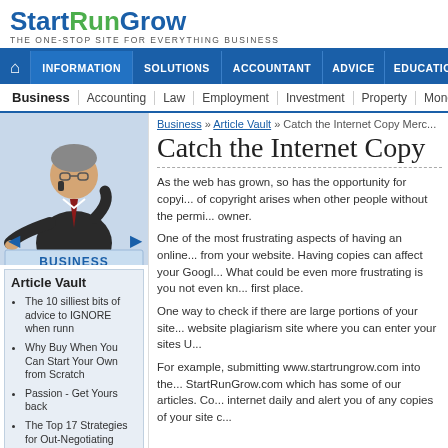StartRunGrow — THE ONE-STOP SITE FOR EVERYTHING BUSINESS
INFORMATION | SOLUTIONS | ACCOUNTANT | ADVICE | EDUCATION
Business | Accounting | Law | Employment | Investment | Property | Money | Succ...
[Figure (photo): Business man in suit talking on phone, with BUSINESS label below]
Article Vault
The 10 silliest bits of advice to IGNORE when runn
Why Buy When You Can Start Your Own from Scratch
Passion - Get Yours back
The Top 17 Strategies for Out-Negotiating Anyone
9 Steps to a Successful Business Turnaround
The 5 Big Secrets of Top Performers
Advertising is Timed to the Second – so Move it
Business » Article Vault » Catch the Internet Copy Merc...
Catch the Internet Copy
As the web has grown, so has the opportunity for copyi... of copyright arises when other people without the permi... owner.
One of the most frustrating aspects of having an online... from your website. Having copies can affect your Googl... What could be even more frustrating is you not even kn... first place.
One way to check if there are large portions of your site... website plagiarism site where you can enter your sites U...
For example, submitting www.startrungrow.com into the... StartRunGrow.com which has some of our articles. Co... internet daily and alert you of any copies of your site c...